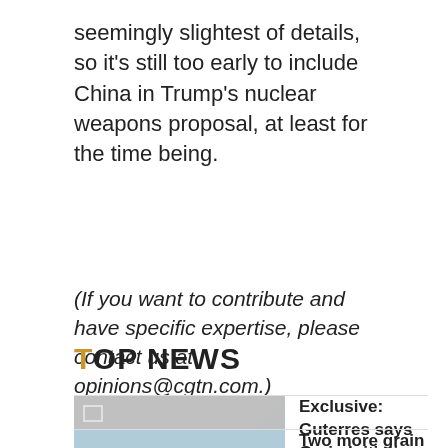seemingly slightest of details, so it's still too early to include China in Trump's nuclear weapons proposal, at least for the time being.
(If you want to contribute and have specific expertise, please contact us at opinions@cgtn.com.)
TOP NEWS
[Figure (screenshot): CGTN video thumbnail with play button]
Exclusive: Guterres says Grain Initiative effective, but more needed
World   01:25, 20-Aug-2022
Two more grain ships